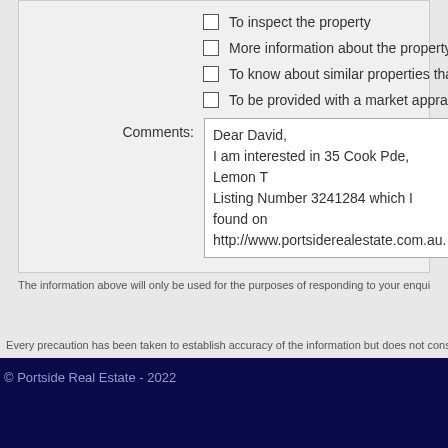☐ To inspect the property
☐ More information about the property
☐ To know about similar properties that
☐ To be provided with a market apprais
Comments: Dear David, I am interested in 35 Cook Pde, Lemon T Listing Number 3241284 which I found on http://www.portsiderealestate.com.au.
The information above will only be used for the purposes of responding to your enquiry. For more inform
Every precaution has been taken to establish accuracy of the information but does not constitute any represe You should make your own enquiries as to its accuracy.
© Portside Real Estate - 2022